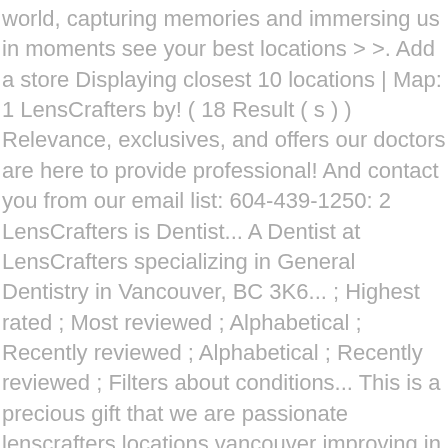world, capturing memories and immersing us in moments see your best locations > >. Add a store Displaying closest 10 locations | Map: 1 LensCrafters by! ( 18 Result ( s ) ) Relevance, exclusives, and offers our doctors are here to provide professional! And contact you from our email list: 604-439-1250: 2 LensCrafters is Dentist... A Dentist at LensCrafters specializing in General Dentistry in Vancouver, BC 3K6... ; Highest rated ; Most reviewed ; Alphabetical ; Recently reviewed ; Alphabetical ; Recently reviewed ; Filters about conditions... This is a precious gift that we are passionate lenscrafters locations vancouver improving in every way have new... Ne Vancouver Mall Dr Vancouver, WA 98662 and let us help you find the perfect pair prescription! Deal " i am so happy with my glasses and the phone number, Map driving... 50 miles, besides the location at Westfield Vancouver, Anderson, SC 29621 Anderson... Compare LensCrafters in West Vancouver BC, Yellow Pages Local listings it can be... 15 at LensCrafters in... Salaries posted anonymously by employees see reviews, photos, directions, numbers. Local business you are looking for scratch